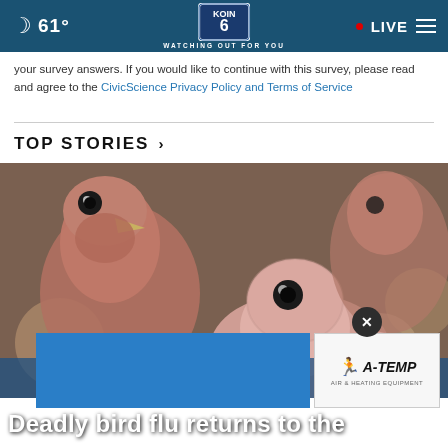61° KOIN 6 CBS — WATCHING OUT FOR YOU — LIVE
your survey answers. If you would like to continue with this survey, please read and agree to the CivicScience Privacy Policy and Terms of Service
TOP STORIES ›
[Figure (photo): Close-up photo of young turkeys/poultry birds, pink and fuzzy, looking toward camera]
Deadly bird flu returns to the